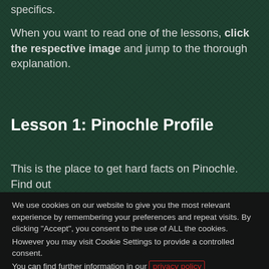specifics.
When you want to read one of the lessons, click the respective image and jump to the thorough explanation.
Lesson 1: Pinochle Profile
This is the place to get hard facts on Pinochle. Find out
We use cookies on our website to give you the most relevant experience by remembering your preferences and repeat visits. By clicking “Accept”, you consent to the use of ALL the cookies.
However you may visit Cookie Settings to provide a controlled consent.
You can find further information in our privacy policy
Cookie Settings
ACCEPT